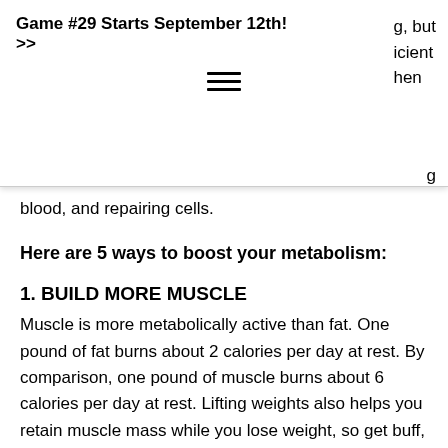Game #29 Starts September 12th! >> g, but icient hen g
blood, and repairing cells.
Here are 5 ways to boost your metabolism:
1. BUILD MORE MUSCLE
Muscle is more metabolically active than fat. One pound of fat burns about 2 calories per day at rest. By comparison, one pound of muscle burns about 6 calories per day at rest. Lifting weights also helps you retain muscle mass while you lose weight, so get buff, yo. Incorporate 3 weight training sessions